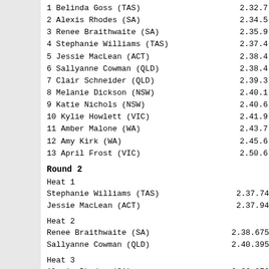1 Belinda Goss (TAS) 2.32.7
2 Alexis Rhodes (SA) 2.34.5
3 Renee Braithwaite (SA) 2.35.9
4 Stephanie Williams (TAS) 2.37.4
5 Jessie MacLean (ACT) 2.38.4
6 Sallyanne Cowman (QLD) 2.38.4
7 Clair Schneider (QLD) 2.39.3
8 Melanie Dickson (NSW) 2.40.1
9 Katie Nichols (NSW) 2.40.6
10 Kylie Howlett (VIC) 2.41.9
11 Amber Malone (WA) 2.43.7
12 Amy Kirk (WA) 2.45.6
13 April Frost (VIC) 2.50.6
Round 2
Heat 1
Stephanie Williams (TAS) 2.37.74
Jessie MacLean (ACT) 2.37.94
Heat 2
Renee Braithwaite (SA) 2.38.675
Sallyanne Cowman (QLD) 2.40.395
Heat 3
Alexis Rhodes (SA) 2.36.376